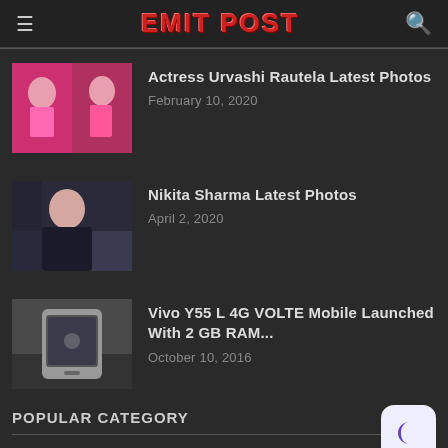EMIT POST
Actress Urvashi Rautela Latest Photos | February 10, 2020
Nikita Sharma Latest Photos | April 2, 2020
Vivo Y55 L 4G VOLTE Mobile Launched With 2 GB RAM... | October 10, 2016
POPULAR CATEGORY
India News  440